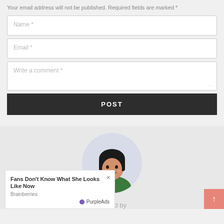Your email address will not be published. Required fields are marked *
Name *
Email *
Write a comment *
POST
[Figure (photo): Circular avatar photo of a smiling woman with short dark hair wearing a green patterned top, on a light lavender background]
Fans Don't Know What She Looks Like Now
Brainberries
PurpleAds
Posted by